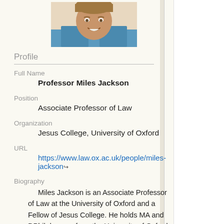[Figure (photo): Headshot photo of Professor Miles Jackson, a man smiling, wearing a blue jacket]
Profile
Full Name
Professor Miles Jackson
Position
Associate Professor of Law
Organization
Jesus College, University of Oxford
URL
https://www.law.ox.ac.uk/people/miles-jackson
Biography
Miles Jackson is an Associate Professor of Law at the University of Oxford and a Fellow of Jesus College. He holds MA and DPhil degrees from the University of Oxford, an